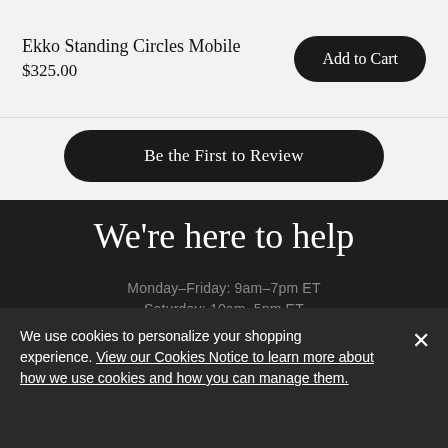Ekko Standing Circles Mobile
$325.00
Add to Cart
Be the First to Review
We're here to help
Monday–Friday: 9am–7pm ET
Saturday: 10am–5pm ET
Sunday: 10am–5pm ET
Contact Us
We use cookies to personalize your shopping experience. View our Cookies Notice to learn more about how we use cookies and how you can manage them.
Product Care
Design Services